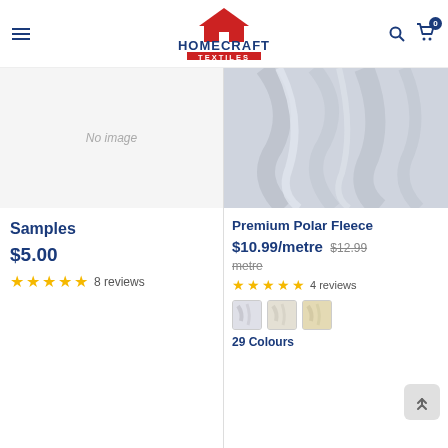[Figure (logo): Homecraft Textiles logo with red house icon and blue text]
No image
Samples
$5.00
★★★★★ 8 reviews
[Figure (photo): Premium Polar Fleece fabric in light grey/white color]
Premium Polar Fleece
$10.99/metre $12.99/metre
★★★★★ 4 reviews
[Figure (photo): Three fabric color swatches: white, off-white/cream, and pale yellow]
29 Colours